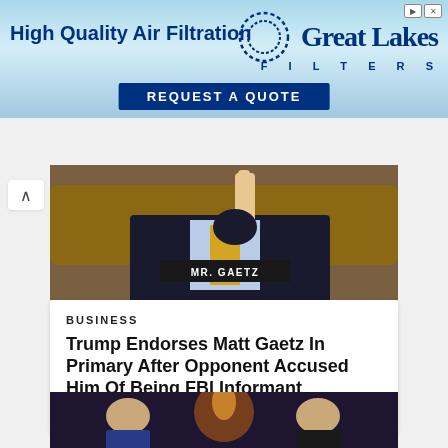[Figure (photo): Advertisement banner for Great Lakes Filters showing 'High Quality Air Filtration' text and 'Request A Quote' button]
[Figure (photo): Photo of Matt Gaetz pointing finger, seated at congressional hearing with nameplate reading 'Mr. Gaetz']
BUSINESS
Trump Endorses Matt Gaetz In Primary After Opponent Accused Him Of Being FBI Informant
Businesshala - August 21, 2022
[Figure (photo): Photo of two men in suits standing at an event with decorative lighting in background]